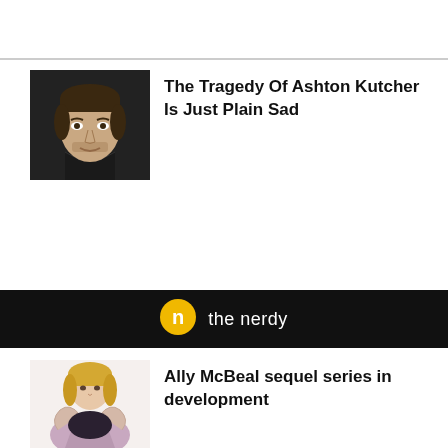[Figure (photo): Headshot of Ashton Kutcher, a man with dark hair and stubble]
The Tragedy Of Ashton Kutcher Is Just Plain Sad
[Figure (logo): The Nerdy logo — yellow circular icon with 'n' and the text 'the nerdy' on black banner]
[Figure (photo): Woman in pink/lavender jacket sitting with knees pulled up]
Ally McBeal sequel series in development